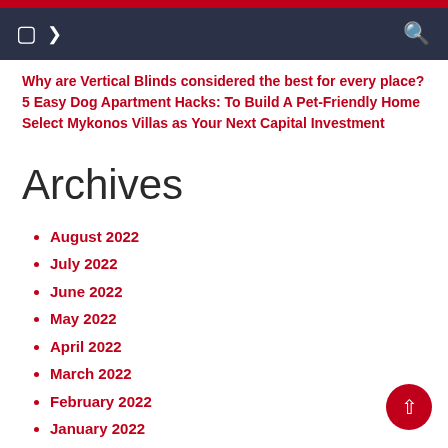Navigation bar with menu icon and search icon
Why are Vertical Blinds considered the best for every place?
5 Easy Dog Apartment Hacks: To Build A Pet-Friendly Home
Select Mykonos Villas as Your Next Capital Investment
Archives
August 2022
July 2022
June 2022
May 2022
April 2022
March 2022
February 2022
January 2022
December 2021